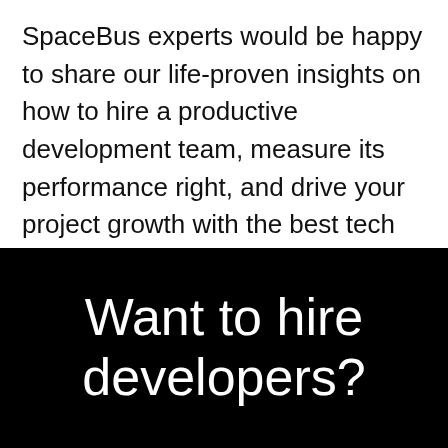SpaceBus experts would be happy to share our life-proven insights on how to hire a productive development team, measure its performance right, and drive your project growth with the best tech minds.
Want to hire developers?